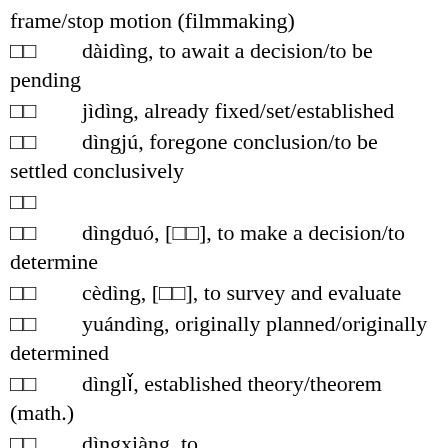frame/stop motion (filmmaking)
□□ dàidìng, to await a decision/to be pending
□□ jìdìng, already fixed/set/established
□□ dìngjú, foregone conclusion/to be settled conclusively
□□
□□ dìngduó, [□□], to make a decision/to determine
□□ cèdìng, [□□], to survey and evaluate
□□ yuándìng, originally planned/originally determined
□□ dìnglǐ, established theory/theorem (math.)
□□ dìngxiàng, to orientate/directional/directed/orienteering
□□ xiàndìng, to restrict to/to limit
□□ píngdìng, [□□], to evaluate/to make one's